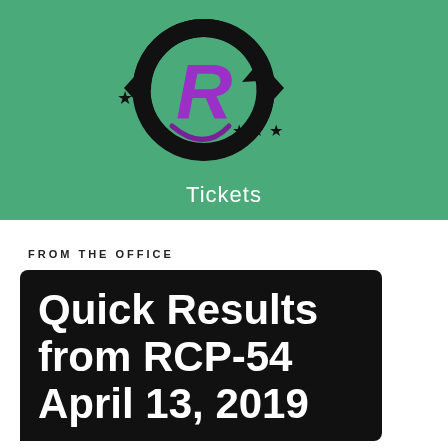[Figure (logo): Circular logo with stylized R in purple, black circular arrow design with stars, on green background]
Tickets
FROM THE OFFICE
Quick Results from RCP-54 April 13, 2019